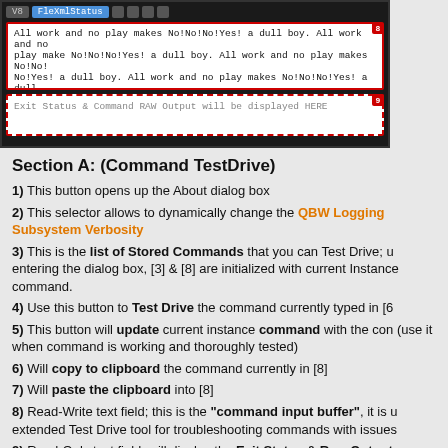[Figure (screenshot): Screenshot of a GUI application showing tab bar with 'V8' and 'FleXmlStatus' tabs, a white text area (box 8) with red border containing repeated 'All work and no play makes No!No!No!Yes! a dull boy.' text, and a dashed-border text area (box 9) showing 'Exit Status & Command RAW Output will be displayed HERE']
Section A: (Command TestDrive)
1) This button opens up the About dialog box
2) This selector allows to dynamically change the QBW Logging Subsystem Verbosity
3) This is the list of Stored Commands that you can Test Drive; u entering the dialog box, [3] & [8] are initialized with current Instance command.
4) Use this button to Test Drive the command currently typed in [6
5) This button will update current instance command with the con (use it when command is working and thoroughly tested)
6) Will copy to clipboard the command currently in [8]
7) Will paste the clipboard into [8]
8) Read-Write text field; this is the "command input buffer", it is u extended Test Drive tool for troubleshooting commands with issues
9) Read-Only text field; will display the Exit Status & Raw Output